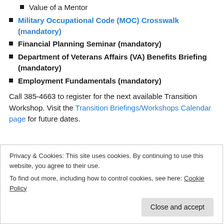Value of a Mentor
Military Occupational Code (MOC) Crosswalk (mandatory)
Financial Planning Seminar (mandatory)
Department of Veterans Affairs (VA) Benefits Briefing (mandatory)
Employment Fundamentals (mandatory)
Call 385-4663 to register for the next available Transition Workshop. Visit the Transition Briefings/Workshops Calendar page for future dates.
Privacy & Cookies: This site uses cookies. By continuing to use this website, you agree to their use. To find out more, including how to control cookies, see here: Cookie Policy